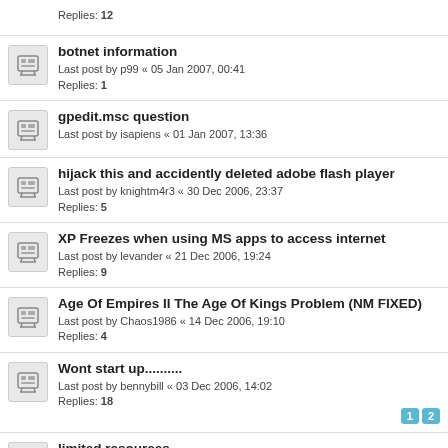Replies: 12
botnet information
Last post by p99 « 05 Jan 2007, 00:41
Replies: 1
gpedit.msc question
Last post by isapiens « 01 Jan 2007, 13:36
hijack this and accidently deleted adobe flash player
Last post by knightm4r3 « 30 Dec 2006, 23:37
Replies: 5
XP Freezes when using MS apps to access internet
Last post by levander « 21 Dec 2006, 19:24
Replies: 9
Age Of Empires II The Age Of Kings Problem (NM FIXED)
Last post by Chaos1986 « 14 Dec 2006, 19:10
Replies: 4
Wont start up..........
Last post by bennybill « 03 Dec 2006, 14:02
Replies: 18
Pages: 1 2
limited resources
Last post by bad_brain « 02 Dec 2006, 16:23
Replies: 7
Some Real Problem
Last post by LaBlueGirl « 29 Nov 2006, 06:54
Replies: 19
Pages: 1 2
shutdownshit - help!
Last post by ...